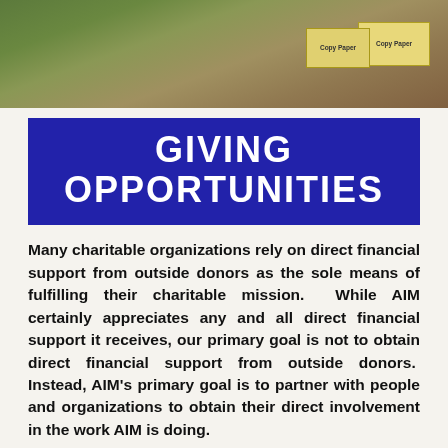[Figure (photo): Two people (appears to be children or young people) holding Copy Paper boxes, photographed indoors with a green background.]
GIVING OPPORTUNITIES
Many charitable organizations rely on direct financial support from outside donors as the sole means of fulfilling their charitable mission. While AIM certainly appreciates any and all direct financial support it receives, our primary goal is not to obtain direct financial support from outside donors. Instead, AIM's primary goal is to partner with people and organizations to obtain their direct involvement in the work AIM is doing.
In some cases that work involves direct